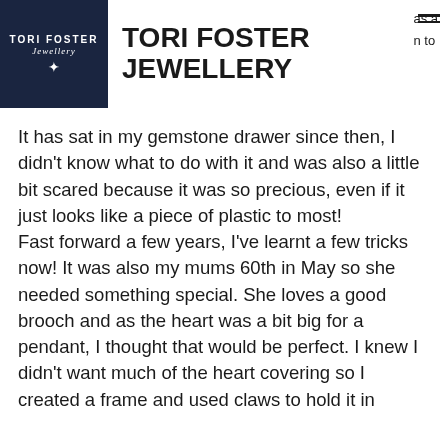[Figure (logo): Tori Foster Jewellery logo on dark navy background with star icon]
TORI FOSTER JEWELLERY
as a
n to
It has sat in my gemstone drawer since then, I didn't know what to do with it and was also a little bit scared because it was so precious, even if it just looks like a piece of plastic to most!
Fast forward a few years, I've learnt a few tricks now! It was also my mums 60th in May so she needed something special. She loves a good brooch and as the heart was a bit big for a pendant, I thought that would be perfect. I knew I didn't want much of the heart covering so I created a frame and used claws to hold it in